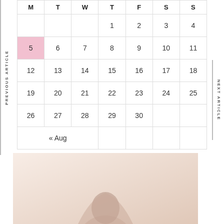| M | T | W | T | F | S | S |
| --- | --- | --- | --- | --- | --- | --- |
|  |  |  | 1 | 2 | 3 | 4 |
| 5 | 6 | 7 | 8 | 9 | 10 | 11 |
| 12 | 13 | 14 | 15 | 16 | 17 | 18 |
| 19 | 20 | 21 | 22 | 23 | 24 | 25 |
| 26 | 27 | 28 | 29 | 30 |  |  |
| « Aug |  |  |  |  |  |  |
[Figure (photo): A photo of a person, partially visible at the bottom of the page against a light pinkish-beige background.]